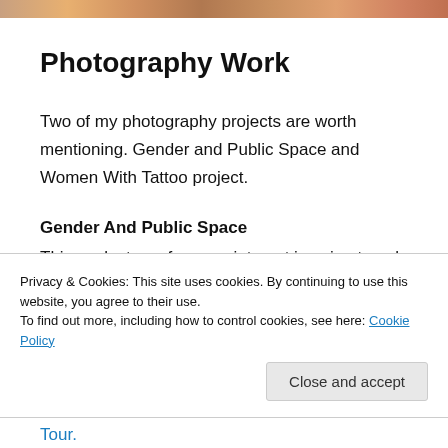[Figure (photo): Colorful photo strip/banner at the top of the page]
Photography Work
Two of my photography projects are worth mentioning. Gender and Public Space and Women With Tattoo project.
Gender And Public Space
This work stems from my interest in using travel and photography to document how men and women use public space, and how the gender
Privacy & Cookies: This site uses cookies. By continuing to use this website, you agree to their use.
To find out more, including how to control cookies, see here: Cookie Policy
SWBT and Where Are The Women – 5 Cities Tour.